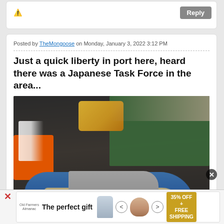Posted by TheMongoose on Monday, January 3, 2022 3:12 PM
Just a quick liberty in port here, heard there was a Japanese Task Force in the area...
[Figure (photo): Scale model warship (Japanese battleship) displayed on a wooden and blue-painted base, sitting on a workbench covered with modeling supplies including orange paint tray, green cutting mat, yellow sponge, and various paints and bottles.]
[Figure (advertisement): Advertisement: 'The perfect gift' with product images and '35% OFF + FREE SHIPPING' promo badge.]